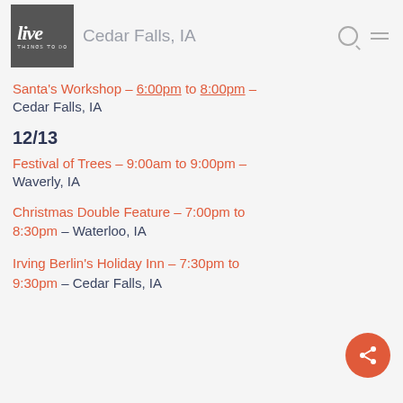live — Cedar Falls, IA
Santa's Workshop – 6:00pm to 8:00pm – Cedar Falls, IA
12/13
Festival of Trees – 9:00am to 9:00pm – Waverly, IA
Christmas Double Feature – 7:00pm to 8:30pm – Waterloo, IA
Irving Berlin's Holiday Inn – 7:30pm to 9:30pm – Cedar Falls, IA